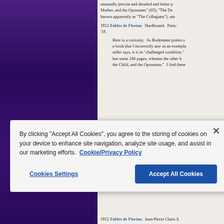unusually precise and detailed and better p Mother, and the Opossums" (65); "The De known apparently as "The Collegians"); am
1812 Fables de Florian. Hardbound. Paris: '18.
Here is a curiosity. As Bodemann points o a book that I incorrectly saw as an exempla seller says, it is in "challenged condition." has some 246 pages, whereas the other h the Child, and the Opossums." I find these
spine. It is unusual to find two almost ide
1812 Fables de Florian. Jean-Pierre Claris A
[Figure (screenshot): Cookie consent dialog overlay with close button (×), text about cookies policy, a Cookie/Privacy Policy link, and two buttons: 'Cookies Settings' and 'Accept All Cookies' (blue button).]